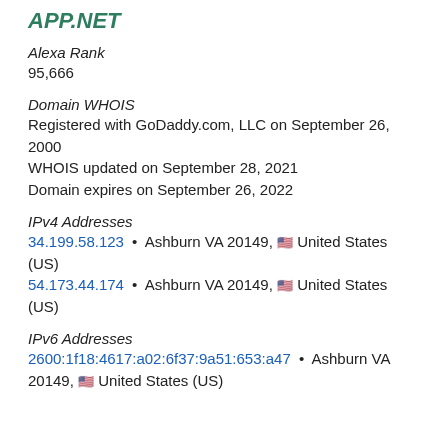APP.NET
Alexa Rank
95,666
Domain WHOIS
Registered with GoDaddy.com, LLC on September 26, 2000
WHOIS updated on September 28, 2021
Domain expires on September 26, 2022
IPv4 Addresses
34.199.58.123 • Ashburn VA 20149, 🇺🇸 United States (US)
54.173.44.174 • Ashburn VA 20149, 🇺🇸 United States (US)
IPv6 Addresses
2600:1f18:4617:a02:6f37:9a51:653:a47 • Ashburn VA 20149, 🇺🇸 United States (US)